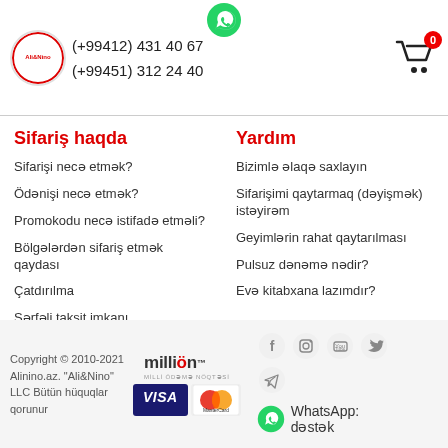[Figure (logo): Ali&Nino circular logo]
(+99412) 431 40 67
(+99451) 312 24 40
[Figure (logo): WhatsApp green icon at top center]
[Figure (illustration): Shopping cart icon with 0 badge]
Sifariş haqda
Sifarişi necə etmək?
Ödənişi necə etmək?
Promokodu necə istifadə etməli?
Bölgələrdən sifariş etmək qaydası
Çatdırılma
Sərfəli taksit imkanı
Bir kliklə alış-veriş
"Özün götür" xidməti nədir?
Yardım
Bizimlə əlaqə saxlayın
Sifarişimi qaytarmaq (dəyişmək) istəyirəm
Geyimlərin rahat qaytarılması
Pulsuz dənəmə nədir?
Evə kitabxana lazımdır?
Copyright © 2010-2021 Alinino.az. "Ali&Nino" LLC Bütün hüquqlar qorunur
[Figure (logo): millOn payment logo]
[Figure (logo): VISA and MasterCard payment logos]
[Figure (logo): Social media icons: Facebook, Instagram, YouTube, Twitter, Telegram]
[Figure (logo): WhatsApp icon with text: WhatsApp: dəstək]